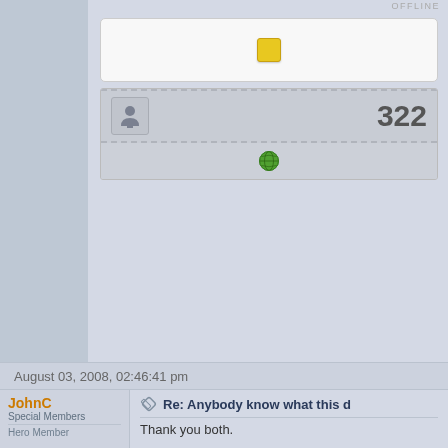OFFLINE
[Figure (other): Yellow square button icon in white rounded box]
[Figure (other): User stats box showing post count 322 with small avatar icon and dashed border]
322
[Figure (other): Globe icon green in grey button]
August 03, 2008, 02:46:41 pm
JohnC
Special Members
Hero Member
[Figure (photo): Default user avatar silhouette on dark grey background]
OFFLINE
[Figure (other): Yellow square button icon in white rounded box]
Re: Anybody know what this d
Thank you both.
Most recently added malicious websites
[Figure (other): User stats box showing post count 1964 with small avatar icon and dashed border]
1964